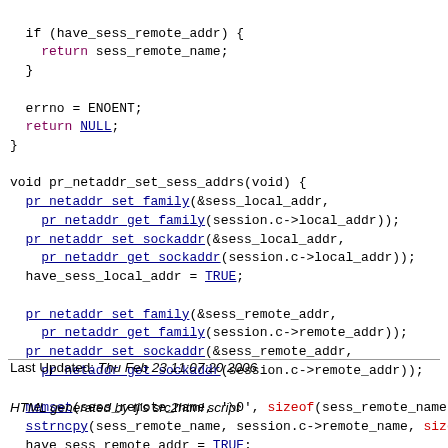if (have_sess_remote_addr) {
  return sess_remote_name;
}

errno = ENOENT;
return NULL;
}

void pr_netaddr_set_sess_addrs(void) {
  pr_netaddr_set_family(&sess_local_addr,
    pr_netaddr_get_family(session.c->local_addr));
  pr_netaddr_set_sockaddr(&sess_local_addr,
    pr_netaddr_get_sockaddr(session.c->local_addr));
  have_sess_local_addr = TRUE;

  pr_netaddr_set_family(&sess_remote_addr,
    pr_netaddr_get_family(session.c->remote_addr));
  pr_netaddr_set_sockaddr(&sess_remote_addr,
    pr_netaddr_get_sockaddr(session.c->remote_addr));

  memset(sess_remote_name, '\0', sizeof(sess_remote_name))
  sstrncpy(sess_remote_name, session.c->remote_name, size
  have_sess_remote_addr = TRUE;
}
Last Updated: Thu Feb 23 11:07:20 2006
HTML generated by tj's src2html script